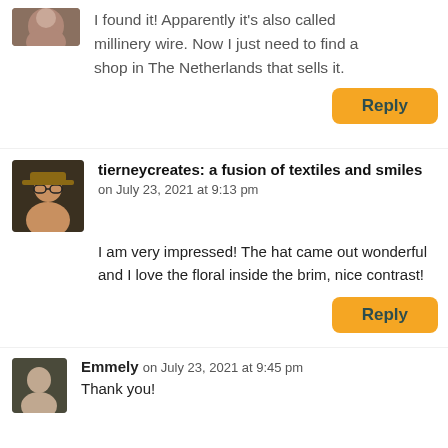I found it! Apparently it's also called millinery wire. Now I just need to find a shop in The Netherlands that sells it.
Reply
tierneycreates: a fusion of textiles and smiles
on July 23, 2021 at 9:13 pm
I am very impressed! The hat came out wonderful and I love the floral inside the brim, nice contrast!
Reply
Emmely on July 23, 2021 at 9:45 pm
Thank you!